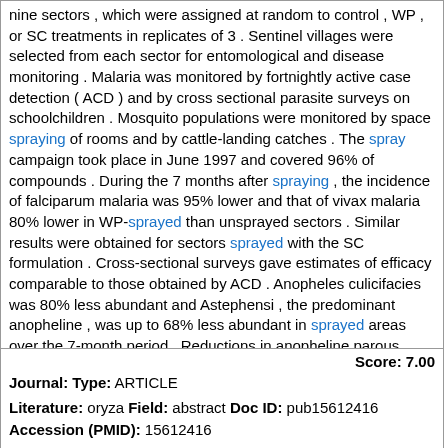nine sectors , which were assigned at random to control , WP , or SC treatments in replicates of 3 . Sentinel villages were selected from each sector for entomological and disease monitoring . Malaria was monitored by fortnightly active case detection ( ACD ) and by cross sectional parasite surveys on schoolchildren . Mosquito populations were monitored by space spraying of rooms and by cattle-landing catches . The spray campaign took place in June 1997 and covered 96% of compounds . During the 7 months after spraying , the incidence of falciparum malaria was 95% lower and that of vivax malaria 80% lower in WP-sprayed than unsprayed sectors . Similar results were obtained for sectors sprayed with the SC formulation . Cross-sectional surveys gave estimates of efficacy comparable to those obtained by ACD . Anopheles culicifacies was 80% less abundant and Astephensi , the predominant anopheline , was up to 68% less abundant in sprayed areas over the 7-month period . Reductions in anopheline parous rates indicated that the single-spray treatment was effective for the entire transmission season . Sprayed surfaces lacked odour , which contributed to the popularity of the campaign . Alphacypermethrin is a promising insecticide for the control of malaria in Pakistan and South Asia generally .
Score: 7.00
Journal: Type: ARTICLE
Literature: oryza Field: abstract Doc ID: pub15612416 Accession (PMID): 15612416
Abstract: Endotoxins from Bacillus thuringiensis ( Bt ) produced in transgenic pest-resistant Bt crops are generally not toxic to predatory and parasitic arthropods . However , elimination of Bt-susceptible prey and hosts in Bt crops could reduce predator and parasitoid abundance and thereby disrupt biological control of other herbivorous pests . Here